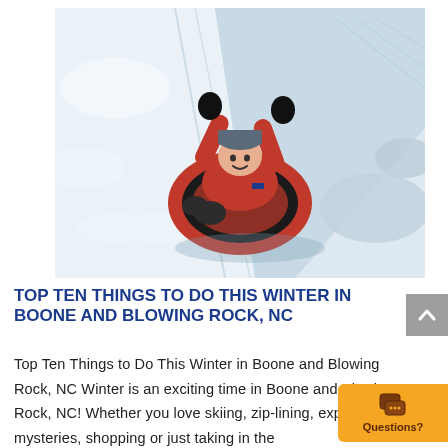[Figure (photo): A child in a red winter coat and hat lying on a red inflatable snow tube, arms raised joyfully, sliding down a snowy slope.]
TOP TEN THINGS TO DO THIS WINTER IN BOONE AND BLOWING ROCK, NC
Top Ten Things to Do This Winter in Boone and Blowing Rock, NC Winter is an exciting time in Boone and Blowing Rock, NC! Whether you love skiing, zip-lining, exploring mysteries, shopping or just taking in the